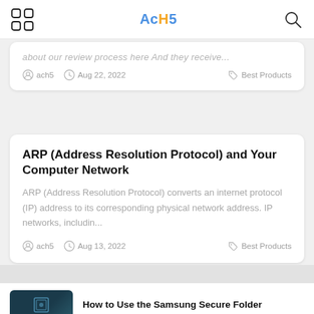AcH5 — navigation header with app icon and search icon
...about our review process here And they receive...
ach5  Aug 22, 2022  Best Products
ARP (Address Resolution Protocol) and Your Computer Network
ARP (Address Resolution Protocol) converts an internet protocol (IP) address to its corresponding physical network address. IP networks, includin...
ach5  Aug 13, 2022  Best Products
How to Use the Samsung Secure Folder